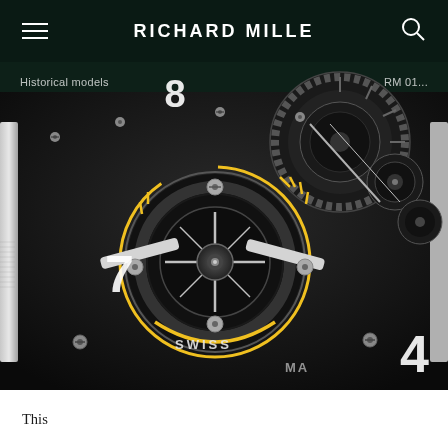RICHARD MILLE
[Figure (photo): Extreme close-up macro photograph of a Richard Mille watch movement (tourbillon), showing intricate mechanical gears, screws, springs, and a yellow-accented tourbillon cage against a dark background. Text 'SWISS MA' visible on the dial edge.]
Historical models
RM 01...
This...